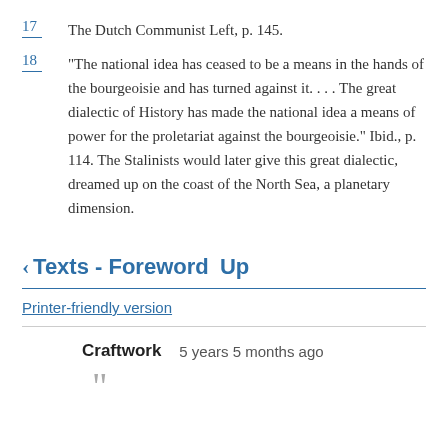17 The Dutch Communist Left, p. 145.
18 “The national idea has ceased to be a means in the hands of the bourgeoisie and has turned against it. . . . The great dialectic of History has made the national idea a means of power for the proletariat against the bourgeoisie.” Ibid., p. 114. The Stalinists would later give this great dialectic, dreamed up on the coast of the North Sea, a planetary dimension.
‹ Texts - Foreword   Up
Printer-friendly version
Craftwork   5 years 5 months ago